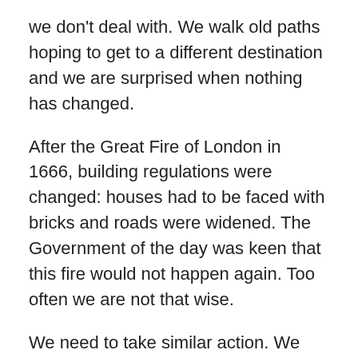we don't deal with. We walk old paths hoping to get to a different destination and we are surprised when nothing has changed.
After the Great Fire of London in 1666, building regulations were changed: houses had to be faced with bricks and roads were widened. The Government of the day was keen that this fire would not happen again. Too often we are not that wise.
We need to take similar action. We need to change our ways. In Acts 2 we are reminded by Peter that the Holy Spirit enables us to repent and believe. “Repent and be baptized, every one of you, in the name of Jesus Christ for the forgiveness of your sins. And you will receive the gift of the Holy Spirit.” We don't have to change our habits in our own futile strength. It is a journey that God goes on with